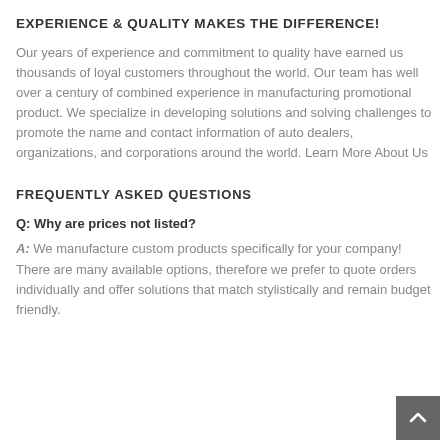EXPERIENCE & QUALITY MAKES THE DIFFERENCE!
Our years of experience and commitment to quality have earned us thousands of loyal customers throughout the world. Our team has well over a century of combined experience in manufacturing promotional product. We specialize in developing solutions and solving challenges to promote the name and contact information of auto dealers, organizations, and corporations around the world. Learn More About Us
FREQUENTLY ASKED QUESTIONS
Q: Why are prices not listed?
A: We manufacture custom products specifically for your company! There are many available options, therefore we prefer to quote orders individually and offer solutions that match stylistically and remain budget friendly.